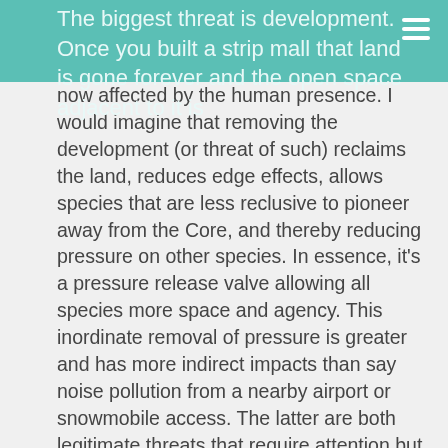The biggest threat is development. Once you built a strip mall that land is gone forever and the open space adjacent to it is now affected by the human presence. I would imagine that removing the development (or threat of such) reclaims the land, reduces edge effects, allows species that are less reclusive to pioneer away from the Core, and thereby reducing pressure on other species. In essence, it's a pressure release valve allowing all species more space and agency. This inordinate removal of pressure is greater and has more indirect impacts than say noise pollution from a nearby airport or snowmobile access. The latter are both legitimate threats that require attention but far less a priority than a Keystone Threat.
Constraints Theory
Discussing what motivates people to conduct recreation (of any kind - adventure backpacking to table tennis), my professor discussed Constraint Theory. This theory identifies three basic constraints to participation:
intrapersonal constraints – fear, motivation, lack of skill